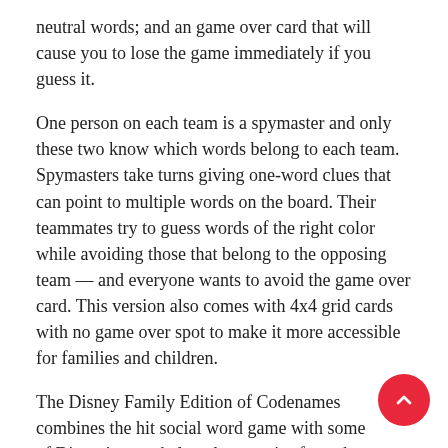neutral words; and an game over card that will cause you to lose the game immediately if you guess it.
One person on each team is a spymaster and only these two know which words belong to each team. Spymasters take turns giving one-word clues that can point to multiple words on the board. Their teammates try to guess words of the right color while avoiding those that belong to the opposing team — and everyone wants to avoid the game over card. This version also comes with 4x4 grid cards with no game over spot to make it more accessible for families and children.
The Disney Family Edition of Codenames combines the hit social word game with some of Disney's most beloved properties from the past 90 years. Including both pictures and words; it's family fun for Disney fans of all ages. Codenames: Disney Family Edition keeps the Codenames gameplay; while featuring characters and locations from over 90 years of Disney and Pixar films..